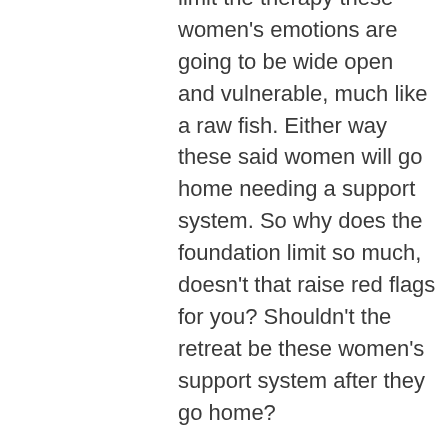limit the therapy these women's emotions are going to be wide open and vulnerable, much like a raw fish. Either way these said women will go home needing a support system. So why does the foundation limit so much, doesn't that raise red flags for you? Shouldn't the retreat be these women's support system after they go home?